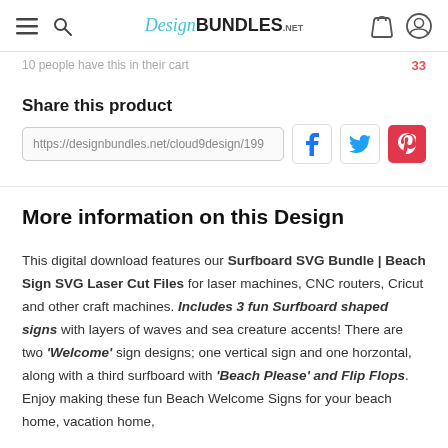DesignBUNDLES.NET
10 people have this in their cart
Share this product
https://designbundles.net/cloud9design/199
More information on this Design
This digital download features our Surfboard SVG Bundle | Beach Sign SVG Laser Cut Files for laser machines, CNC routers, Cricut and other craft machines. Includes 3 fun Surfboard shaped signs with layers of waves and sea creature accents! There are two 'Welcome' sign designs; one vertical sign and one horzontal, along with a third surfboard with 'Beach Please' and Flip Flops. Enjoy making these fun Beach Welcome Signs for your beach home, vacation home,